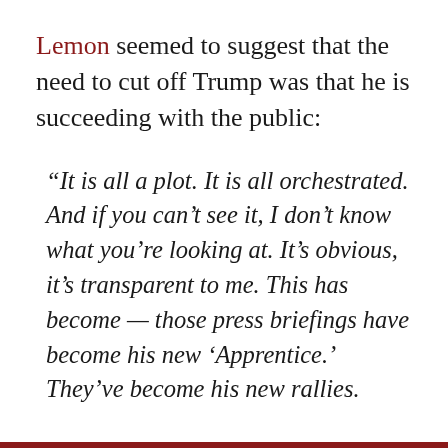Lemon seemed to suggest that the need to cut off Trump was that he is succeeding with the public:
“It is all a plot. It is all orchestrated. And if you can’t see it, I don’t know what you’re looking at. It’s obvious, it’s transparent to me. This has become — those press briefings have become his new ‘Apprentice.’ They’ve become his new rallies.